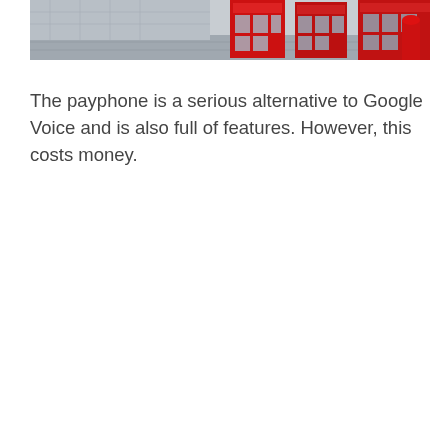[Figure (photo): A street-level photograph of red British telephone boxes (payphones), partially cropped at the top of the page. The red phone boxes are on a city pavement.]
The payphone is a serious alternative to Google Voice and is also full of features. However, this costs money.